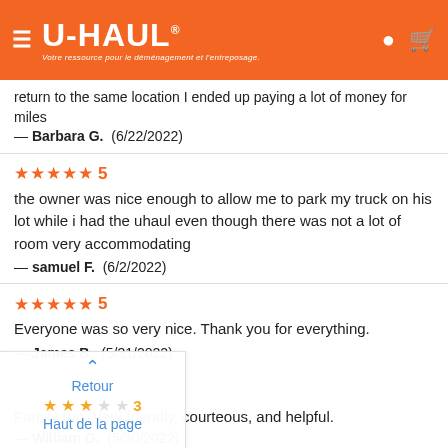[Figure (logo): U-Haul orange header with hamburger menu, U-HAUL logo with registered trademark, tagline 'Votre ressource pour le déménagement et l'entreposage.', location pin icon, and shopping cart icon on orange background]
return to the same location I ended up paying a lot of money for miles
— Barbara G.  (6/22/2022)
★★★★★ 5
the owner was nice enough to allow me to park my truck on his lot while i had the uhaul even though there was not a lot of room very accommodating
— samuel F.  (6/2/2022)
★★★★★ 5
Everyone was so very nice. Thank you for everything.
— James B.  (5/31/2022)
[Figure (screenshot): Popup overlay showing blue upward chevron arrow, 'Retour' text in blue, 3 filled orange stars and 2 empty stars with number 3, 'Haut de la page' text in blue]
Family run. Very friendly, courteous, and helpful.
— William O.  (5/30/2022)